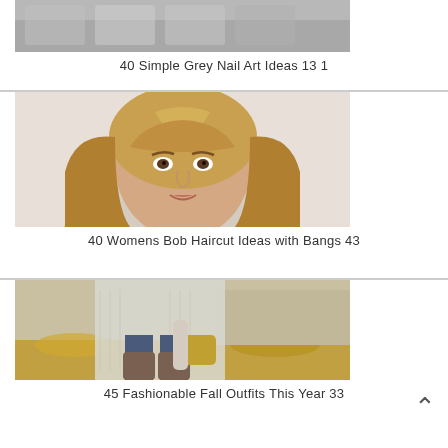[Figure (photo): Partial image of grey nail art at top of page]
40 Simple Grey Nail Art Ideas 13 1
[Figure (photo): Woman with short blonde bob haircut with bangs, wearing light-colored top]
40 Womens Bob Haircut Ideas with Bangs 43
[Figure (photo): Woman in fashionable fall outfit: grey knit poncho, jeans, over-the-knee boots, carrying handbag, outdoors with autumn leaves]
45 Fashionable Fall Outfits This Year 33